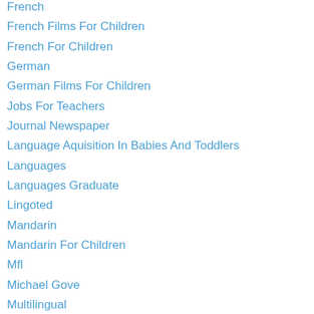French
French Films For Children
French For Children
German
German Films For Children
Jobs For Teachers
Journal Newspaper
Language Aquisition In Babies And Toddlers
Languages
Languages Graduate
Lingoted
Mandarin
Mandarin For Children
Mfl
Michael Gove
Multilingual
Ne Business Awards
Netmums
Netmums Award
#northeastbusinessawards
North East Business Awards